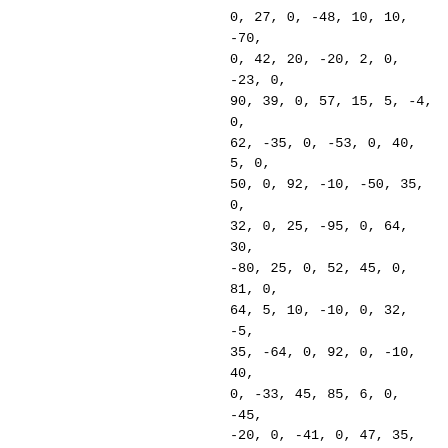0, 27, 0, -48, 10, 10, -70, 0, 42, 20, -20, 2, 0, -23, 0, 90, 39, 0, 57, 15, 5, -4, 0, 62, -35, 0, -53, 0, 40, 5, 0, 50, 0, 92, -10, -50, 35, 0, 32, 0, 25, -95, 0, 64, 30, -80, 25, 0, 52, 45, 0, 81, 0, 64, 5, 10, -10, 0, 32, -5, 35, -64, 0, 92, 0, -10, 40, 0, -33, 45, 85, 6, 0, -45, -20, 0, -41, 0, 47, 35, 20, 26, 0, -88, 20, -5, 85, 0, 4, 0, -45, 14, 0, -95, -100, 20, -55, 0, -98, 0, 0, -39, 0, -86, -15, -15, 84, 0, -128, -50, -30, -74, 0, -109, 0, -70, 11, 0, -25, -75, -95, 50, 0, -30, -40, 0, 15, 0, -58, -20, 20, -184, 0, 2, 40, 135, -26, 0, -38, 0, -30, 66,